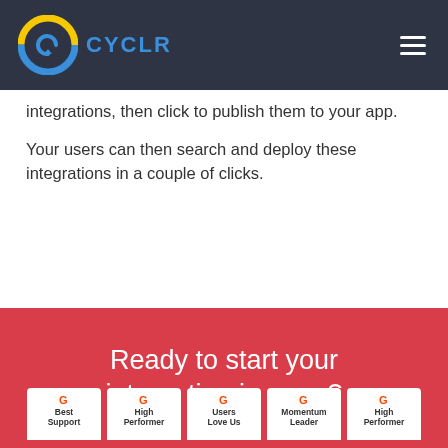[Figure (logo): Cyclr logo with blue and yellow circular arrow icon and blue CYCLR text on dark navy header bar]
integrations, then click to publish them to your app.
Your users can then search and deploy these integrations in a couple of clicks.
Ready to start your integration journey?
[Figure (infographic): Five G2 badges: Best Support, High Performer, Users Love Us, Momentum Leader, High Performer]